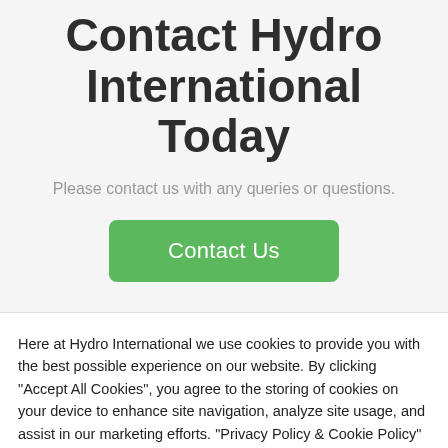Contact Hydro International Today
Please contact us with any queries or questions.
Contact Us
Here at Hydro International we use cookies to provide you with the best possible experience on our website. By clicking "Accept All Cookies", you agree to the storing of cookies on your device to enhance site navigation, analyze site usage, and assist in our marketing efforts. "Privacy Policy & Cookie Policy"
Accept All | Cookie Settings | Accept Necessary Only